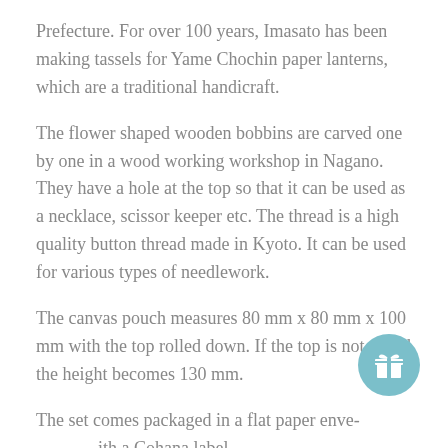Prefecture. For over 100 years, Imasato has been making tassels for Yame Chochin paper lanterns, which are a traditional handicraft.
The flower shaped wooden bobbins are carved one by one in a wood working workshop in Nagano. They have a hole at the top so that it can be used as a necklace, scissor keeper etc. The thread is a high quality button thread made in Kyoto. It can be used for various types of needlework.
The canvas pouch measures 80 mm x 80 mm x 100 mm with the top rolled down. If the top is not rolled the height becomes 130 mm.
The set comes packaged in a flat paper envelope with a Cohana label.